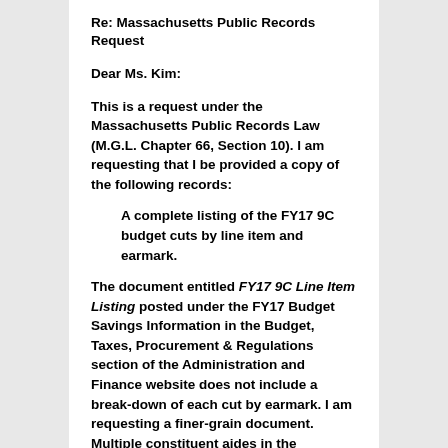Re: Massachusetts Public Records Request
Dear Ms. Kim:
This is a request under the Massachusetts Public Records Law (M.G.L. Chapter 66, Section 10). I am requesting that I be provided a copy of the following records:
A complete listing of the FY17 9C budget cuts by line item and earmark.
The document entitled FY17 9C Line Item Listing posted under the FY17 Budget Savings Information in the Budget, Taxes, Procurement & Regulations section of the Administration and Finance website does not include a break-down of each cut by earmark. I am requesting a finer-grain document. Multiple constituent aides in the Governor's office have confirmed by phone that such a document exists.